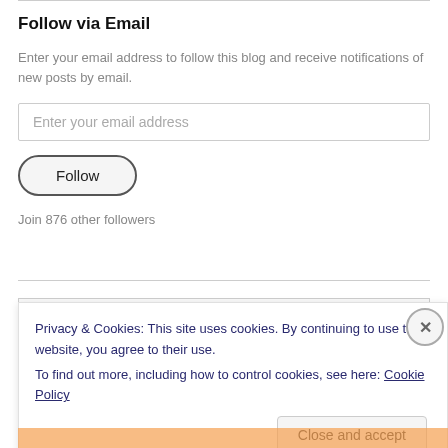Follow via Email
Enter your email address to follow this blog and receive notifications of new posts by email.
Enter your email address
Follow
Join 876 other followers
Privacy & Cookies: This site uses cookies. By continuing to use this website, you agree to their use.
To find out more, including how to control cookies, see here: Cookie Policy
Close and accept